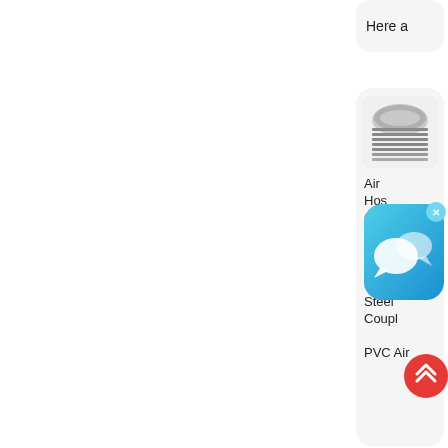Here a
[Figure (photo): Product thumbnail image of air hose coupling, stacked metal rings visible]
Air Hose Coupling Air Hose Fittings Stainless Steel Coupling PVC Air
[Figure (other): Chat/messaging app overlay icon with speech bubbles on blue background with close button]
[Figure (other): Red circular up-arrow scroll-to-top button]